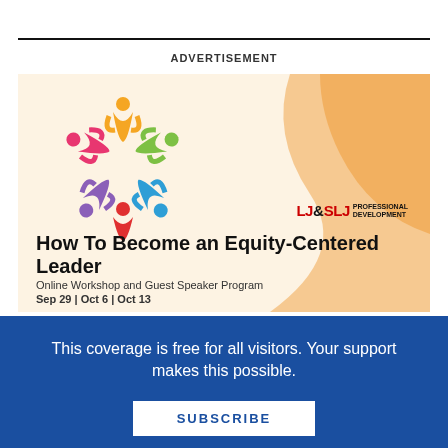ADVERTISEMENT
[Figure (illustration): Advertisement for 'How To Become an Equity-Centered Leader' Online Workshop and Guest Speaker Program by LJ & SLJ Professional Development. Features a colorful circle-of-people logo and orange wave background. Text: Sep 29 | Oct 6 | Oct 13]
This coverage is free for all visitors. Your support makes this possible.
SUBSCRIBE